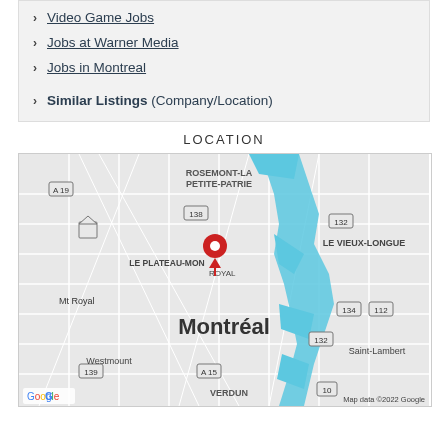Video Game Jobs
Jobs at Warner Media
Jobs in Montreal
Similar Listings (Company/Location)
LOCATION
[Figure (map): Google Map showing Montreal, Quebec area with a red location pin near Le Plateau-Mont-Royal. The map shows surrounding areas including Rosemont-La Petite-Patrie, Le Vieux-Longue, Mt Royal, Westmount, Saint-Lambert, Verdun, and the St. Lawrence River in blue. Route labels 138, 132, 134, 112, 139, 15, 10 are visible. Map data ©2022 Google.]